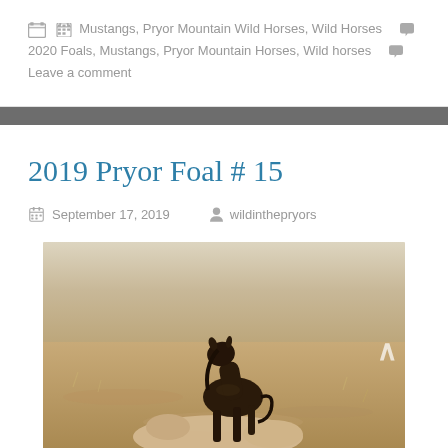📁 Mustangs, Pryor Mountain Wild Horses, Wild Horses 🏷 2020 Foals, Mustangs, Pryor Mountain Horses, Wild horses 💬 Leave a comment
2019 Pryor Foal # 15
September 17, 2019   wildinthepryors
[Figure (photo): A dark brown foal standing over a lighter horse lying on dry grassland terrain]